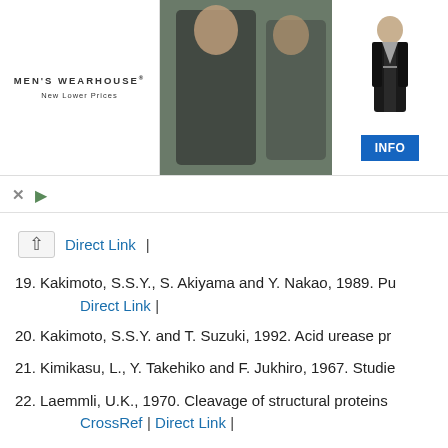[Figure (photo): Men's Wearhouse advertisement banner showing a couple in formal wear and a man in a suit, with an INFO button]
Direct Link |
19. Kakimoto, S.S.Y., S. Akiyama and Y. Nakao, 1989. Pu...
Direct Link |
20. Kakimoto, S.S.Y. and T. Suzuki, 1992. Acid urease pr...
21. Kimikasu, L., Y. Takehiko and F. Jukhiro, 1967. Studie...
22. Laemmli, U.K., 1970. Cleavage of structural proteins...
CrossRef | Direct Link |